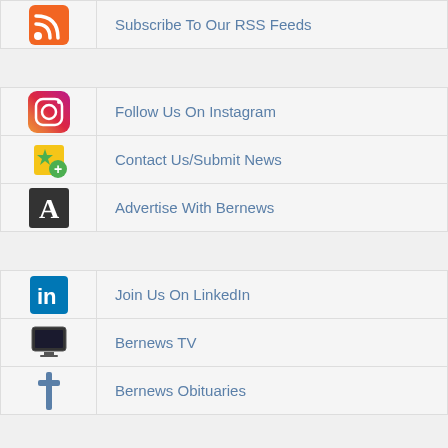Subscribe To Our RSS Feeds
Follow Us On Instagram
Contact Us/Submit News
Advertise With Bernews
Join Us On LinkedIn
Bernews TV
Bernews Obituaries
Daily Email Headlines
Visit BermudaCovers.com